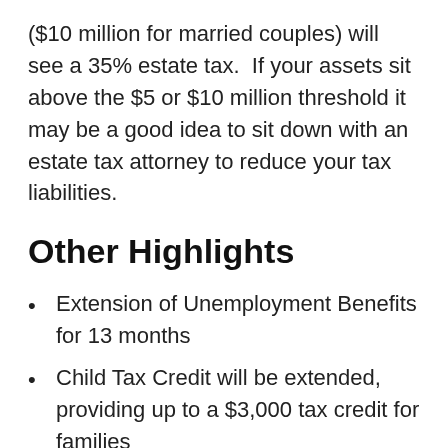($10 million for married couples) will see a 35% estate tax.  If your assets sit above the $5 or $10 million threshold it may be a good idea to sit down with an estate tax attorney to reduce your tax liabilities.
Other Highlights
Extension of Unemployment Benefits for 13 months
Child Tax Credit will be extended, providing up to a $3,000 tax credit for families
Earned Income Tax Credit will be extended from the Recovery Act,